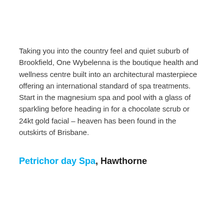Taking you into the country feel and quiet suburb of Brookfield, One Wybelenna is the boutique health and wellness centre built into an architectural masterpiece offering an international standard of spa treatments. Start in the magnesium spa and pool with a glass of sparkling before heading in for a chocolate scrub or 24kt gold facial – heaven has been found in the outskirts of Brisbane.
Petrichor day Spa, Hawthorne